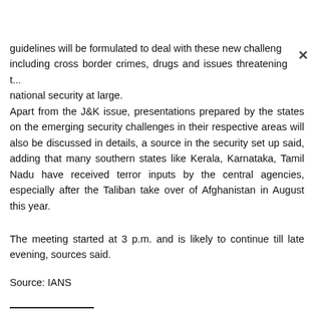guidelines will be formulated to deal with these new challeng including cross border crimes, drugs and issues threatening the national security at large.
Apart from the J&K issue, presentations prepared by the states on the emerging security challenges in their respective areas will also be discussed in details, a source in the security set up said, adding that many southern states like Kerala, Karnataka, Tamil Nadu have received terror inputs by the central agencies, especially after the Taliban take over of Afghanistan in August this year.
The meeting started at 3 p.m. and is likely to continue till late evening, sources said.
Source: IANS